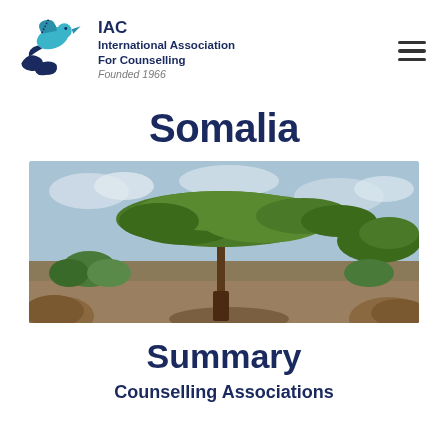[Figure (logo): IAC International Association For Counselling logo with a bird and wave graphic in teal and dark blue]
IAC
International Association
For Counselling
Founded 1966
Somalia
[Figure (photo): Landscape photo of an acacia tree against a sky with flat dry terrain and rocky ground in Somalia]
Summary
Counselling Associations